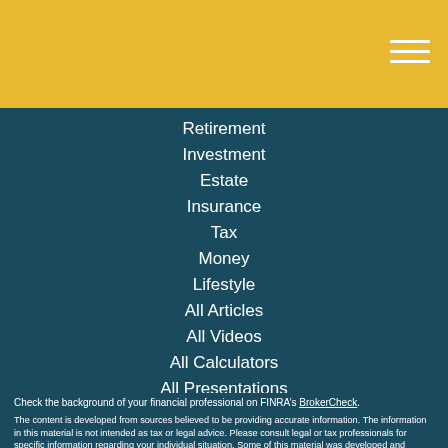[Figure (other): Golden yellow header bar with hamburger menu icon (three white horizontal lines) in top-right corner]
Retirement
Investment
Estate
Insurance
Tax
Money
Lifestyle
All Articles
All Videos
All Calculators
All Presentations
Check the background of your financial professional on FINRA’s BrokerCheck.
The content is developed from sources believed to be providing accurate information. The information in this material is not intended as tax or legal advice. Please consult legal or tax professionals for specific information regarding your individual situation. Some of this material was developed and produced by FMG Suite to provide information on a topic that may be of interest. FMG Suite is not affiliated with the named representative, broker - dealer, state - or SEC - registered investment advisory firm. The opinions expressed and material provided are for general information, and should not be considered a solicitation for the purchase or sale of any security.